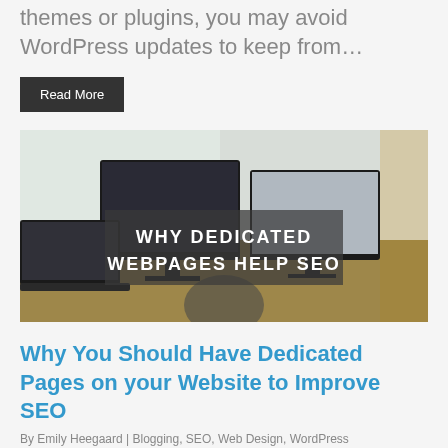themes or plugins, you may avoid WordPress updates to keep from…
Read More
[Figure (photo): Photo of a desk with multiple computer monitors and a laptop in a bright room, with overlaid text reading 'WHY DEDICATED WEBPAGES HELP SEO']
Why You Should Have Dedicated Pages on your Website to Improve SEO
By Emily Heegaard | Blogging, SEO, Web Design, WordPress